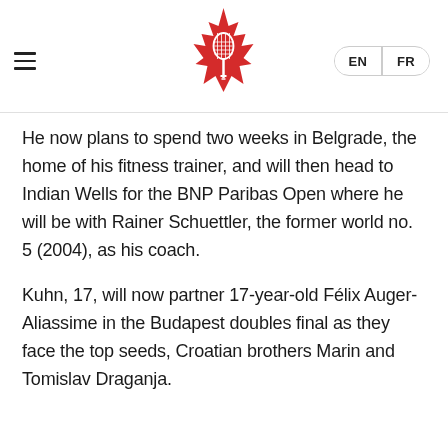[Figure (logo): Tennis Canada logo: red maple leaf with a tennis racquet silhouette in the center]
He now plans to spend two weeks in Belgrade, the home of his fitness trainer, and will then head to Indian Wells for the BNP Paribas Open where he will be with Rainer Schuettler, the former world no. 5 (2004), as his coach.
Kuhn, 17, will now partner 17-year-old Félix Auger-Aliassime in the Budapest doubles final as they face the top seeds, Croatian brothers Marin and Tomislav Draganja.